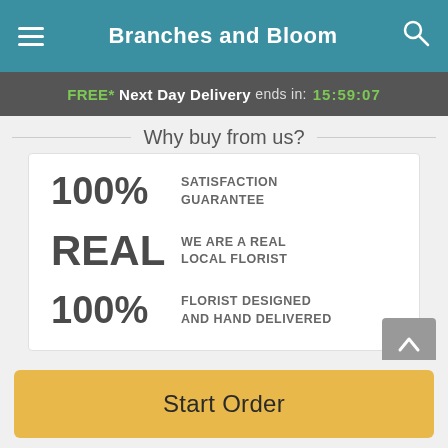Branches and Bloom
FREE* Next Day Delivery ends in: 15:59:07
Why buy from us?
100% SATISFACTION GUARANTEE
REAL WE ARE A REAL LOCAL FLORIST
100% FLORIST DESIGNED AND HAND DELIVERED
Start Order